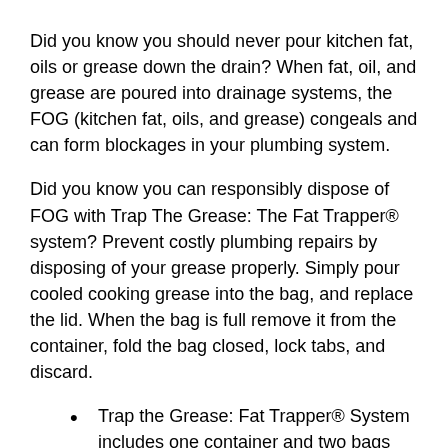Did you know you should never pour kitchen fat, oils or grease down the drain? When fat, oil, and grease are poured into drainage systems, the FOG (kitchen fat, oils, and grease) congeals and can form blockages in your plumbing system.
Did you know you can responsibly dispose of FOG with Trap The Grease: The Fat Trapper® system? Prevent costly plumbing repairs by disposing of your grease properly. Simply pour cooled cooking grease into the bag, and replace the lid. When the bag is full remove it from the container, fold the bag closed, lock tabs, and discard.
Trap the Grease: Fat Trapper® System includes one container and two bags
Bags temperature safe to 200˚F
New bold Blue Trap the Grease container is made of polypropylene and made from recycled materials